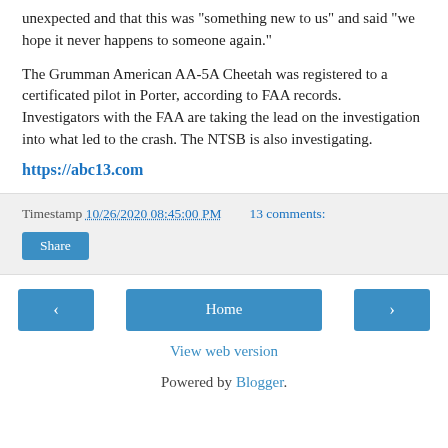unexpected and that this was "something new to us" and said "we hope it never happens to someone again."
The Grumman American AA-5A Cheetah was registered to a certificated pilot in Porter, according to FAA records.  Investigators with the FAA are taking the lead on the investigation into what led to the crash. The NTSB is also investigating.
https://abc13.com
Timestamp 10/26/2020 08:45:00 PM    13 comments:
Share
‹    Home    ›
View web version
Powered by Blogger.